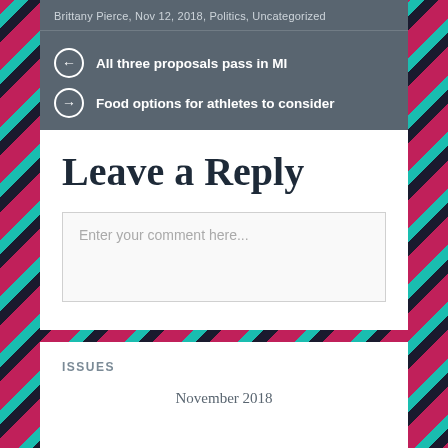Brittany Pierce, Nov 12, 2018, Politics, Uncategorized
All three proposals pass in MI
Food options for athletes to consider
Leave a Reply
Enter your comment here...
ISSUES
November 2018